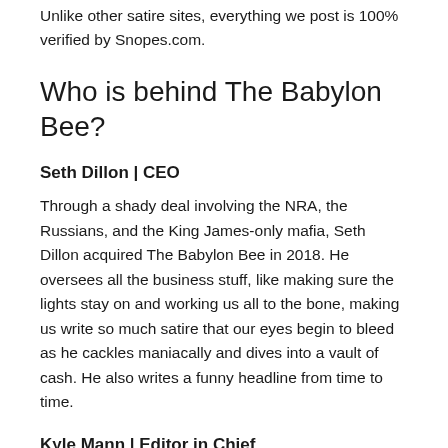Unlike other satire sites, everything we post is 100% verified by Snopes.com.
Who is behind The Babylon Bee?
Seth Dillon | CEO
Through a shady deal involving the NRA, the Russians, and the King James-only mafia, Seth Dillon acquired The Babylon Bee in 2018. He oversees all the business stuff, like making sure the lights stay on and working us all to the bone, making us write so much satire that our eyes begin to bleed as he cackles maniacally and dives into a vault of cash. He also writes a funny headline from time to time.
Kyle Mann | Editor in Chief
Kyle was created in an Orc spawning pit beneath the tower